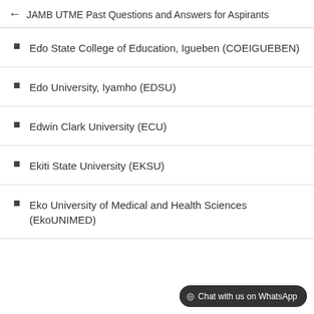← JAMB UTME Past Questions and Answers for Aspirants
Edo State College of Education, Igueben (COEIGUEBEN)
Edo University, Iyamho (EDSU)
Edwin Clark University (ECU)
Ekiti State University (EKSU)
Eko University of Medical and Health Sciences (EkoUNIMED)